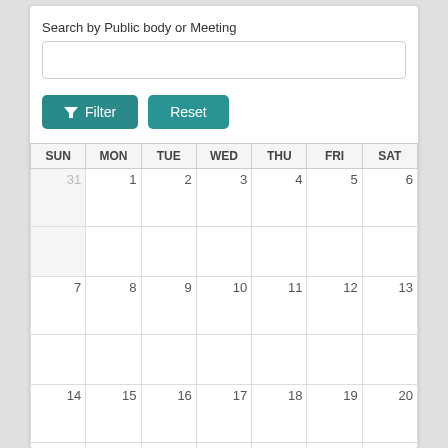Search by Public body or Meeting
[Figure (screenshot): Search input box (empty text field)]
[Figure (screenshot): Filter and Reset buttons with funnel icon]
| SUN | MON | TUE | WED | THU | FRI | SAT |
| --- | --- | --- | --- | --- | --- | --- |
| 31 | 1 | 2 | 3 | 4 | 5 | 6 |
|  |  |  |  |  |  |  |
| 7 | 8 | 9 | 10 | 11 | 12 | 13 |
|  |  |  |  |  |  |  |
| 14 | 15 | 16 | 17 | 18 | 19 | 20 |
|  |  |  |  |  |  |  |
| 21 | 22 | 23 | 24 | 25 | 26 | 27 |
|  |  |  |  |  |  |  |